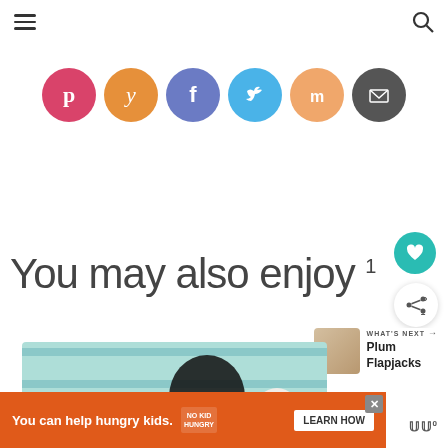Navigation header with hamburger menu and search icon
[Figure (infographic): Six social sharing circular icon buttons: Pinterest (pink), Yummly (orange), Facebook (purple-blue), Twitter (light blue), Mix (peach), Email (dark gray)]
You may also enjoy 1
[Figure (photo): Food photo showing a plate on a blue checkered cloth with a white egg, partially visible]
WHAT'S NEXT → Plum Flapjacks
You can help hungry kids. NO KID HUNGRY LEARN HOW